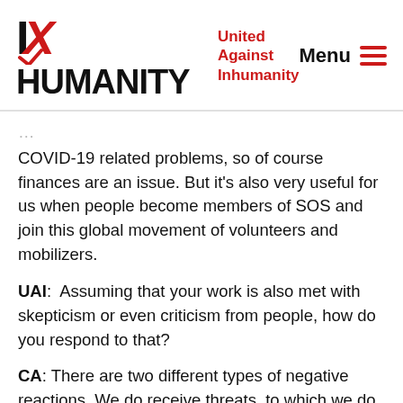[Figure (logo): INHUMANITY logo with red X mark and tagline 'United Against Inhumanity' in red, plus Menu hamburger icon on the right]
COVID-19 related problems, so of course finances are an issue. But it's also very useful for us when people become members of SOS and join this global movement of volunteers and mobilizers.
UAI:  Assuming that your work is also met with skepticism or even criticism from people, how do you respond to that?
CA: There are two different types of negative reactions. We do receive threats, to which we do not respond. We chose to not engage with that for the safety of our team. But we also get a lot of questions on how exactly we operate. We try to be as transparent as possible. There is a lot of information on our website, and it's important to me